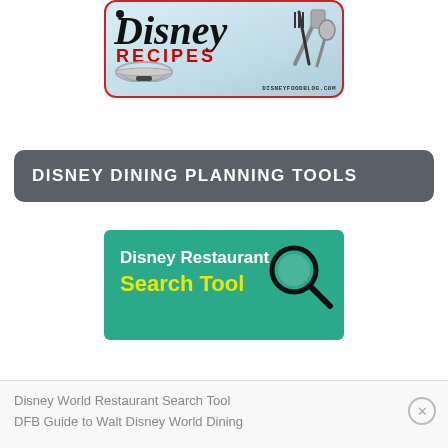[Figure (logo): Disney Recipes logo with Disney wordmark in italic black, RECIPES in bold red lettering, silver bowl, crossed fork/knife/spatula utensils, light blue background, red rounded border. disneyfoodblog.com watermark.]
DISNEY DINING PLANNING TOOLS
[Figure (illustration): Disney Restaurant Search Tool banner with teal background, white bold text 'Disney Restaurant' and yellow bold text 'Search Tool', with a magnifying glass graphic.]
Disney World Restaurant Search Tool
DFB Guide to Walt Disney World Dining